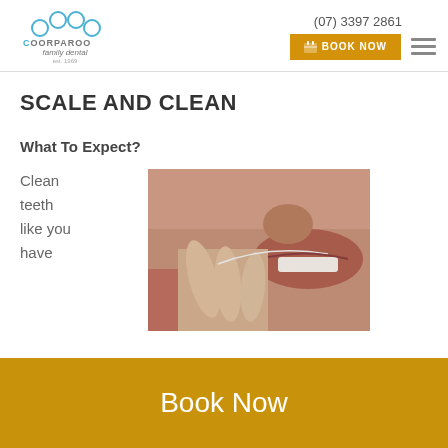[Figure (logo): Coorparoo Family Dental logo with circular tooth icon in blue and grey]
(07) 3397 2861
BOOK NOW
SCALE AND CLEAN
What To Expect?
Clean teeth like you have
[Figure (photo): Close-up photo of a person flossing their teeth]
Book Now